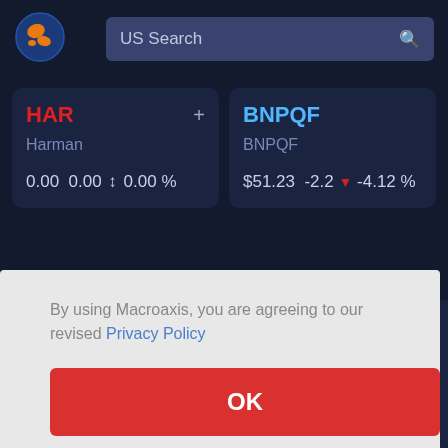[Figure (logo): Macroaxis globe logo — blue circle with orange continents]
US Search
HAR
Harman
0.00  0.00  ↔  0.00 %
BNPQF
BNPQF
$51.23  -2.2  ▼  -4.12 %
By using Macroaxis, you are agreeing to our revised Privacy Policy
OK